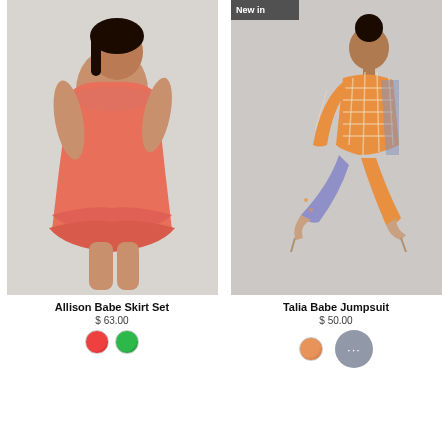[Figure (photo): Woman wearing a coral/salmon off-shoulder ruffle crop top and matching ruffle mini skirt set, posing against light grey background]
[Figure (photo): Woman wearing an orange and blue checkered/patterned jumpsuit, crouching pose, with 'New in' badge in top left. Also shows a circular chat widget.]
Allison Babe Skirt Set
$ 63.00
Talia Babe Jumpsuit
$ 50.00